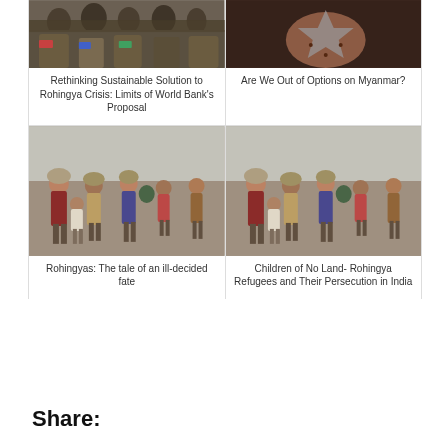[Figure (photo): Group of people standing, Rohingya crisis photo]
Rethinking Sustainable Solution to Rohingya Crisis: Limits of World Bank’s Proposal
[Figure (photo): Person with henna-decorated hand holding an object, Myanmar photo]
Are We Out of Options on Myanmar?
[Figure (photo): Rohingya refugees walking in a line carrying belongings]
Rohingyas: The tale of an ill-decided fate
[Figure (photo): Rohingya refugee children and families walking in a line]
Children of No Land- Rohingya Refugees and Their Persecution in India
Share: